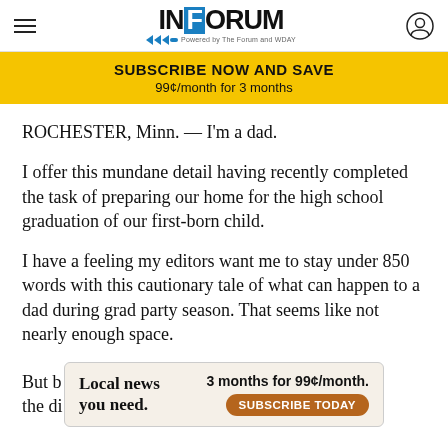InForum — Powered by The Forum and WDAY
[Figure (infographic): Yellow subscribe banner: SUBSCRIBE NOW AND SAVE / 99¢/month for 3 months]
ROCHESTER, Minn. — I'm a dad.
I offer this mundane detail having recently completed the task of preparing our home for the high school graduation of our first-born child.
I have a feeling my editors want me to stay under 850 words with this cautionary tale of what can happen to a dad during grad party season. That seems like not nearly enough space.
But b[...] given the di[...] fter
[Figure (infographic): Local news advertisement: 'Local news you need. 3 months for 99¢/month. SUBSCRIBE TODAY']